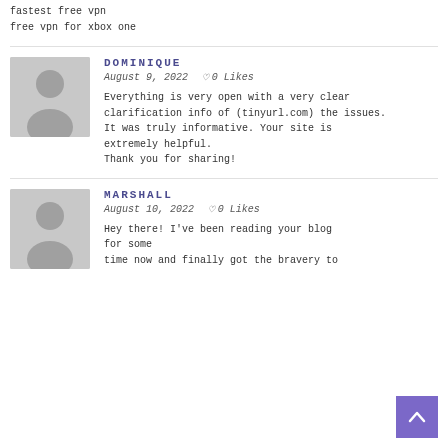fastest free vpn
free vpn for xbox one
DOMINIQUE
August 9, 2022    ♡ 0 Likes
Everything is very open with a very clear clarification info of (tinyurl.com) the issues.
It was truly informative. Your site is extremely helpful.
Thank you for sharing!
MARSHALL
August 10, 2022    ♡ 0 Likes
Hey there! I've been reading your blog for some time now and finally got the bravery to